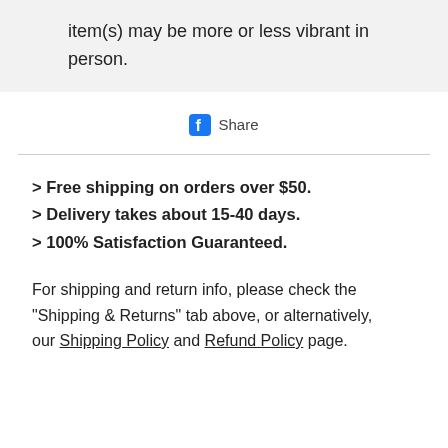item(s) may be more or less vibrant in person.
[Figure (logo): Facebook share button with Facebook icon and 'Share' text]
> Free shipping on orders over $50.
> Delivery takes about 15-40 days.
> 100% Satisfaction Guaranteed.
For shipping and return info, please check the "Shipping & Returns" tab above, or alternatively, our Shipping Policy and Refund Policy page.